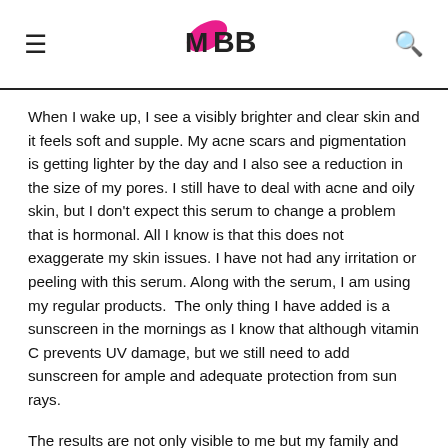IMBB
When I wake up, I see a visibly brighter and clear skin and it feels soft and supple. My acne scars and pigmentation is getting lighter by the day and I also see a reduction in the size of my pores. I still have to deal with acne and oily skin, but I don't expect this serum to change a problem that is hormonal. All I know is that this does not exaggerate my skin issues. I have not had any irritation or peeling with this serum. Along with the serum, I am using my regular products.  The only thing I have added is a sunscreen in the mornings as I know that although vitamin C prevents UV damage, but we still need to add sunscreen for ample and adequate protection from sun rays.
The results are not only visible to me but my family and colleagues also, who have been complimenting me. I regularly video chat with my family in India and a few days ago, during the chat, my parents asked me why am I still wearing makeup at...